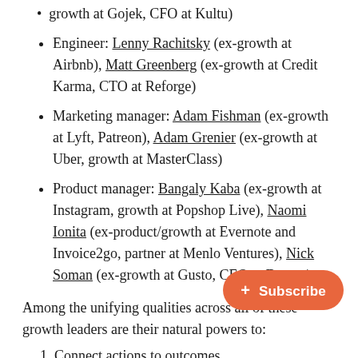growth at Gojek, CFO at Kultu)
Engineer: Lenny Rachitsky (ex-growth at Airbnb), Matt Greenberg (ex-growth at Credit Karma, CTO at Reforge)
Marketing manager: Adam Fishman (ex-growth at Lyft, Patreon), Adam Grenier (ex-growth at Uber, growth at MasterClass)
Product manager: Bangaly Kaba (ex-growth at Instagram, growth at Popshop Live), Naomi Ionita (ex-product/growth at Evernote and Invoice2go, partner at Menlo Ventures), Nick Soman (ex-growth at Gusto, CEO at Decent)
Among the unifying qualities across all of these growth leaders are their natural powers to:
Connect actions to outcomes